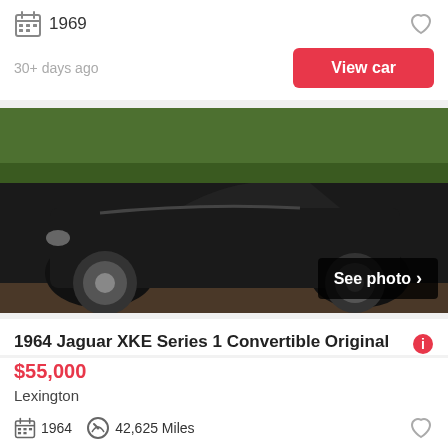1969
30+ days ago
View car
[Figure (photo): Side profile of a black 1964 Jaguar XKE Series 1 Convertible parked outdoors with green foliage in background. A 'See photo >' button overlay is visible in the bottom right corner.]
1964 Jaguar XKE Series 1 Convertible Original
$55,000
Lexington
1964
42,625 Miles
View car